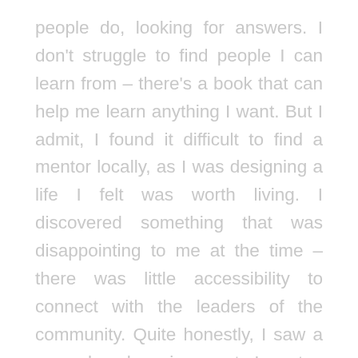people do, looking for answers. I don't struggle to find people I can learn from – there's a book that can help me learn anything I want. But I admit, I found it difficult to find a mentor locally, as I was designing a life I felt was worth living. I discovered something that was disappointing to me at the time – there was little accessibility to connect with the leaders of the community. Quite honestly, I saw a very closed environment. I sent a couple of emails, and tried to connect with some leaders via Facebook and LinkedIn, but my requests went unanswered – I eventually canceled the requests, because I felt embarrassed that I